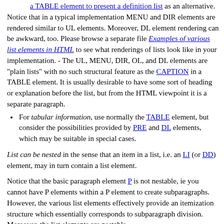a TABLE element to present a definition list as an alternative.
Notice that in a typical implementation MENU and DIR elements are rendered similar to UL elements. Moreover, DL element rendering can be awkward, too. Please browse a separate file Examples of various list elements in HTML to see what renderings of lists look like in your implementation. - The UL, MENU, DIR, OL, and DL elements are "plain lists" with no such structural feature as the CAPTION in a TABLE element. It is usually desirable to have some sort of heading or explanation before the list, but from the HTML viewpoint it is a separate paragraph.
For tabular information, use normally the TABLE element, but consider the possibilities provided by PRE and DL elements, which may be suitable in special cases.
List can be nested in the sense that an item in a list, i.e. an LI (or DD) element, may in turn contain a list element.
Notice that the basic paragraph element P is not nestable, ie you cannot have P elements within a P element to create subparagraphs. However, the various list elements effectively provide an itemization structure which essentially corresponds to subparagraph division. Moreover, the list elements are nestable.
Text-level versus block-level elements